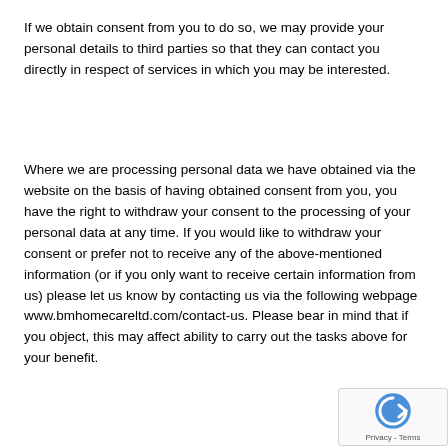If we obtain consent from you to do so, we may provide your personal details to third parties so that they can contact you directly in respect of services in which you may be interested.
Where we are processing personal data we have obtained via the website on the basis of having obtained consent from you, you have the right to withdraw your consent to the processing of your personal data at any time. If you would like to withdraw your consent or prefer not to receive any of the above-mentioned information (or if you only want to receive certain information from us) please let us know by contacting us via the following webpage www.bmhomecareltd.com/contact-us. Please bear in mind that if you object, this may affect ability to carry out the tasks above for your benefit.